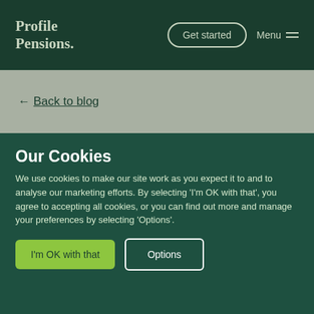Profile Pensions.
← Back to blog
Our Cookies
We use cookies to make our site work as you expect it to and to analyse our marketing efforts. By selecting 'I'm OK with that', you agree to accepting all cookies, or you can find out more and manage your preferences by selecting 'Options'.
I'm OK with that | Options